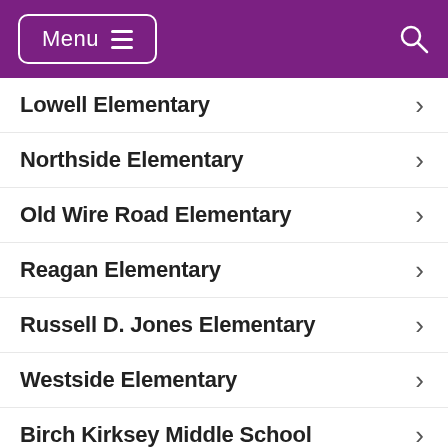Menu
Lowell Elementary
Northside Elementary
Old Wire Road Elementary
Reagan Elementary
Russell D. Jones Elementary
Westside Elementary
Birch Kirksey Middle School
Elmwood Middle School